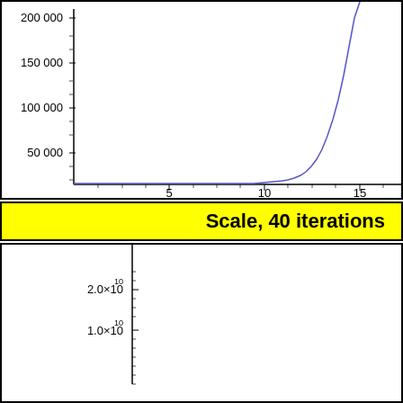[Figure (continuous-plot): Exponential-like curve starting near zero at x=0-10, then rapidly increasing toward y=120000+ at x~17. Y-axis labels: 50000, 100000, 150000, 200000. X-axis labels: 5, 10, 15.]
Scale, 40 iterations
[Figure (continuous-plot): Partial view of another exponential-like curve. Y-axis label visible: 2.0×10^10 and partial label below. X-axis not visible. Only the upper-left portion of the chart is shown.]